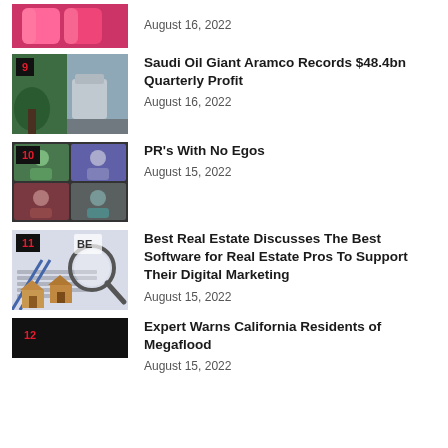August 16, 2022
[Figure (photo): Article thumbnail with number badge 9 - Saudi Aramco oil facility]
Saudi Oil Giant Aramco Records $48.4bn Quarterly Profit
August 16, 2022
[Figure (photo): Article thumbnail with number badge 10 - PR video call screenshot]
PR's With No Egos
August 15, 2022
[Figure (photo): Article thumbnail with number badge 11 - Real estate software image with house models and magnifying glass]
Best Real Estate Discusses The Best Software for Real Estate Pros To Support Their Digital Marketing
August 15, 2022
[Figure (photo): Article thumbnail with number badge 12 - no image shown]
Expert Warns California Residents of Megaflood
August 15, 2022